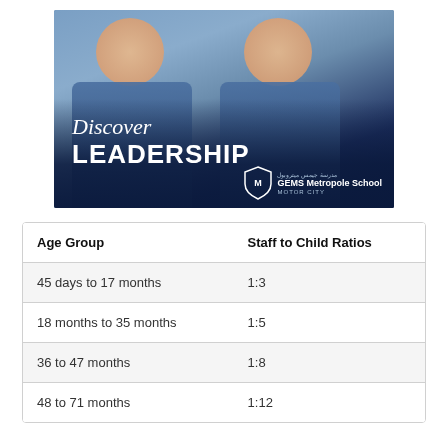[Figure (photo): Two smiling children in navy and grey school uniforms with 'Discover LEADERSHIP' text overlay and GEMS Metropole School Motor City logo at bottom right]
| Age Group | Staff to Child Ratios |
| --- | --- |
| 45 days to 17 months | 1:3 |
| 18 months to 35 months | 1:5 |
| 36 to 47 months | 1:8 |
| 48 to 71 months | 1:12 |